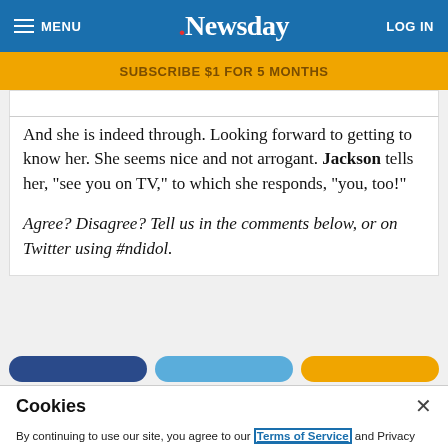MENU | Newsday | LOG IN
SUBSCRIBE $1 FOR 5 MONTHS
And she is indeed through. Looking forward to getting to know her. She seems nice and not arrogant. Jackson tells her, "see you on TV," to which she responds, "you, too!"
Agree? Disagree? Tell us in the comments below, or on Twitter using #ndidol.
Cookies
By continuing to use our site, you agree to our Terms of Service and Privacy Policy. You can learn more about how we use cookies by reviewing our Privacy Policy.